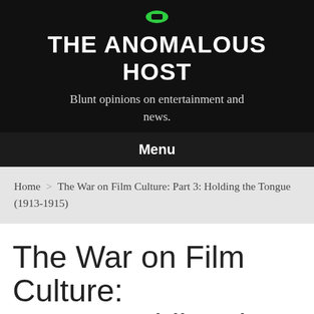THE ANOMALOUS HOST
Blunt opinions on entertainment and news.
Menu
Home > The War on Film Culture: Part 3: Holding the Tongue (1913-1915)
The War on Film Culture: Part 3: Holding the